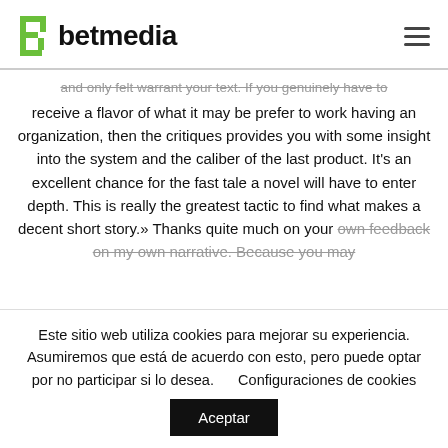betmedia
and only felt warrant your text. If you genuinely have to receive a flavor of what it may be prefer to work having an organization, then the critiques provides you with some insight into the system and the caliber of the last product. It's an excellent chance for the fast tale a novel will have to enter depth. This is really the greatest tactic to find what makes a decent short story.» Thanks quite much on your own feedback on my own narrative. Because you may
Este sitio web utiliza cookies para mejorar su experiencia. Asumiremos que está de acuerdo con esto, pero puede optar por no participar si lo desea.      Configuraciones de cookies
Aceptar